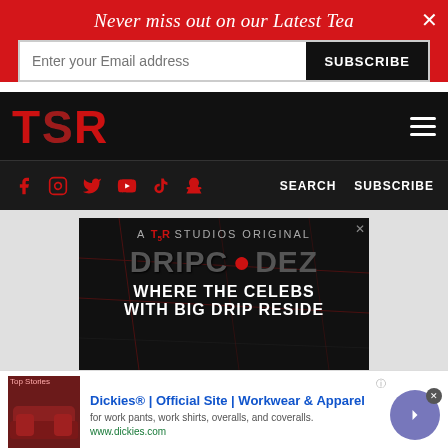Never miss out on our Latest Tea
Enter your Email address | SUBSCRIBE
[Figure (logo): TSR (The Shade Room) logo in red on black background with hamburger menu icon]
[Figure (screenshot): Social media navigation bar with Facebook, Instagram, Twitter, YouTube, TikTok, Snapchat icons in red, plus SEARCH and SUBSCRIBE text links]
[Figure (screenshot): TSR Studios Original advertisement for 'DRIPCODEZ - WHERE THE CELEBS WITH BIG DRIP RESIDE' with Atlanta map background]
[Figure (screenshot): Dickies advertisement: Official Site Workwear & Apparel - for work pants, work shirts, overalls, and coveralls. www.dickies.com]